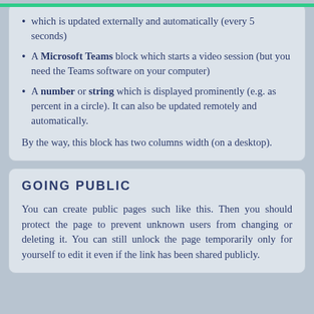which is updated externally and automatically (every 5 seconds)
A Microsoft Teams block which starts a video session (but you need the Teams software on your computer)
A number or string which is displayed prominently (e.g. as percent in a circle). It can also be updated remotely and automatically.
By the way, this block has two columns width (on a desktop).
GOING PUBLIC
You can create public pages such like this. Then you should protect the page to prevent unknown users from changing or deleting it. You can still unlock the page temporarily only for yourself to edit it even if the link has been shared publicly.